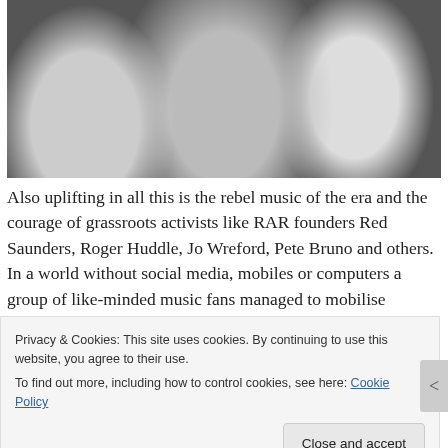[Figure (photo): Black and white photograph of children/young people, appears to be from the punk era]
Also uplifting in all this is the rebel music of the era and the courage of grassroots activists like RAR founders Red Saunders, Roger Huddle, Jo Wreford, Pete Bruno and others. In a world without social media, mobiles or computers a group of like-minded music fans managed to mobilise hundreds of thousands of other music fans against racism. They politicised the punk generation at a crucial time when many bands, such as Sham 69, had racist followers. As someone in the film says, ‘punk could have gone either way.’
Privacy & Cookies: This site uses cookies. By continuing to use this website, you agree to their use.
To find out more, including how to control cookies, see here: Cookie Policy